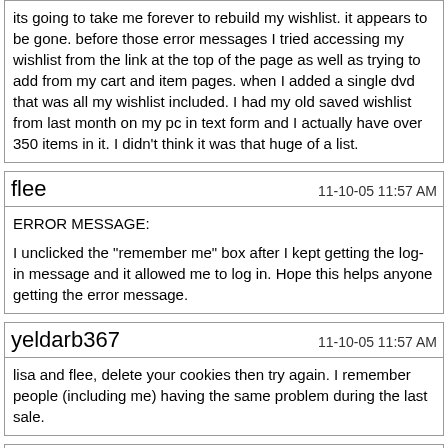its going to take me forever to rebuild my wishlist. it appears to be gone. before those error messages I tried accessing my wishlist from the link at the top of the page as well as trying to add from my cart and item pages. when I added a single dvd that was all my wishlist included. I had my old saved wishlist from last month on my pc in text form and I actually have over 350 items in it. I didn't think it was that huge of a list.
flee
11-10-05 11:57 AM
ERROR MESSAGE:
I unclicked the "remember me" box after I kept getting the log-in message and it allowed me to log in. Hope this helps anyone getting the error message.
yeldarb367
11-10-05 11:57 AM
lisa and flee, delete your cookies then try again. I remember people (including me) having the same problem during the last sale.
GeoffK
11-10-05 12:00 PM
You can always use our the list of DVD's we've given our highest rating as a starting point:
http://www.dvdtalk.com/reviews/list...ll&NReviews=50